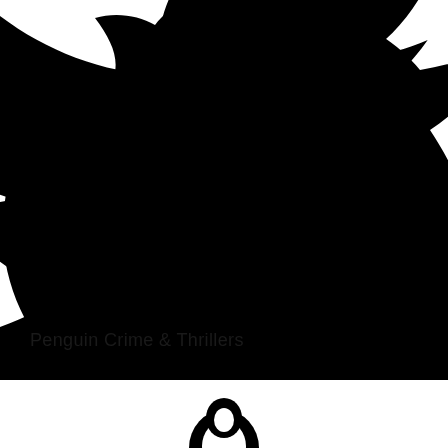[Figure (logo): Large black Twitter bird logo, cropped, filling the upper portion of the page]
Penguin Crime & Thrillers
[Figure (logo): Partial Penguin publisher logo visible at bottom center, black on white]